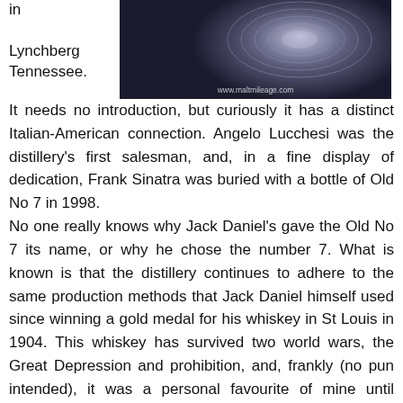in Lynchberg Tennessee.
[Figure (photo): A dark, moody photograph with circular/spiral light patterns on a dark background, with watermark text 'www.maltmileage.com' at the bottom.]
It needs no introduction, but curiously it has a distinct Italian-American connection. Angelo Lucchesi was the distillery's first salesman, and, in a fine display of dedication, Frank Sinatra was buried with a bottle of Old No 7 in 1998.
No one really knows why Jack Daniel's gave the Old No 7 its name, or why he chose the number 7. What is known is that the distillery continues to adhere to the same production methods that Jack Daniel himself used since winning a gold medal for his whiskey in St Louis in 1904. This whiskey has survived two world wars, the Great Depression and prohibition, and, frankly (no pun intended), it was a personal favourite of mine until overdoing it a little in college! I did not touch any